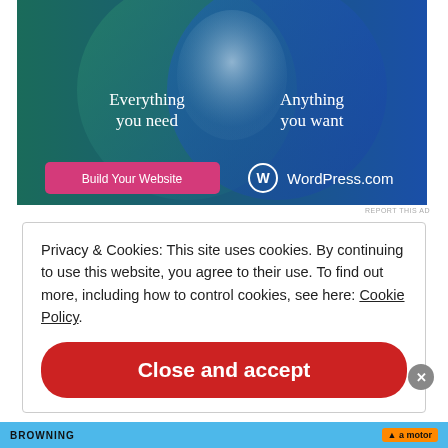[Figure (illustration): WordPress.com advertisement banner showing two overlapping circles (teal and blue, Venn diagram style) on a dark teal/blue gradient background. Left circle text: 'Everything you need'. Right circle text: 'Anything you want'. Bottom left: pink/magenta button labeled 'Build Your Website'. Bottom right: WordPress logo and 'WordPress.com' text in white.]
REPORT THIS AD
Privacy & Cookies: This site uses cookies. By continuing to use this website, you agree to their use. To find out more, including how to control cookies, see here: Cookie Policy
Close and accept